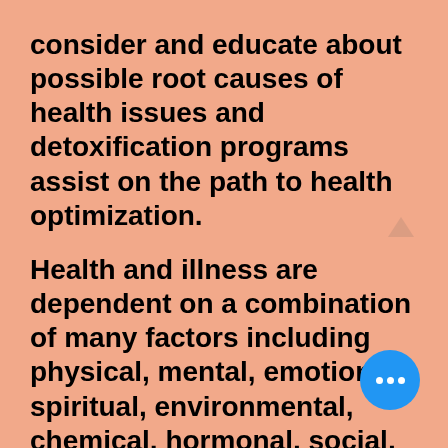consider and educate about possible root causes of health issues and detoxification programs assist on the path to health optimization.

Health and illness are dependent on a combination of many factors including physical, mental, emotional, spiritual, environmental, chemical, hormonal, social, and so on, it is necessary to take all of these factors into account when coaching the whole person. When these factors are functioning harmoniously it sets